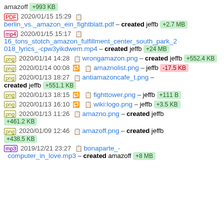amazoff +993 KB
2020/01/15 15:29 [pdf icon] [copy icon] berlin_vs._amazon_ein_fightblatt.pdf – created jeffb +2.7 MB
2020/01/15 15:17 [mp4 icon] [copy icon] 16_tons_stotch_amazon_fulfillment_center_south_park_2018_lyrics_-cpw3yikdwem.mp4 – created jeffb +24 MB
2020/01/14 14:28 [png icon] [copy icon] wrongamazon.png – created jeffb +552.4 KB
2020/01/14 00:08 [png icon] [icons] [copy icon] amaznolist.png – jeffb -17.5 KB
2020/01/13 18:27 [png icon] [copy icon] antiamazoncafe_t.png – created jeffb +551.1 KB
2020/01/13 18:15 [png icon] [icons] [copy icon] fighttower.png – jeffb +111 B
2020/01/13 16:10 [png icon] [icons] [copy icon] wiki:logo.png – jeffb +3.5 KB
2020/01/13 11:26 [png icon] [copy icon] amazno.png – created jeffb +461.2 KB
2020/01/09 12:46 [png icon] [copy icon] amazoff.png – created jeffb +438.5 KB
2019/12/21 23:27 [mp3 icon] [copy icon] bonaparte_-computer_in_love.mp3 – created amazoff +8 MB